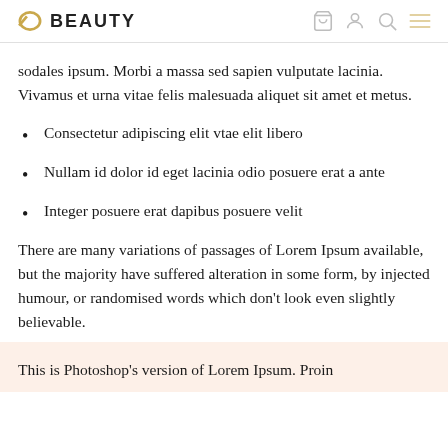BEAUTY
sodales ipsum. Morbi a massa sed sapien vulputate lacinia. Vivamus et urna vitae felis malesuada aliquet sit amet et metus.
Consectetur adipiscing elit vtae elit libero
Nullam id dolor id eget lacinia odio posuere erat a ante
Integer posuere erat dapibus posuere velit
There are many variations of passages of Lorem Ipsum available, but the majority have suffered alteration in some form, by injected humour, or randomised words which don't look even slightly believable.
This is Photoshop's version of Lorem Ipsum. Proin